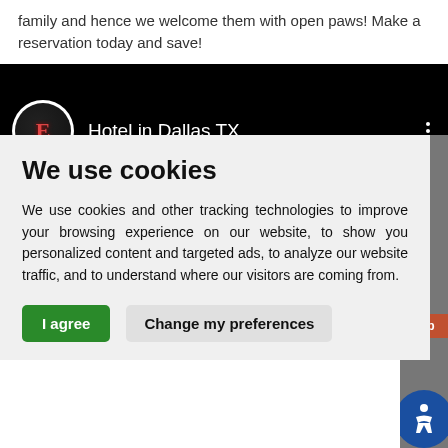family and hence we welcome them with open paws! Make a reservation today and save!
[Figure (screenshot): YouTube-style channel header bar with Executive Inn logo (E in circle) and title 'Hotel in Dallas TX' on black background, with three-dot menu icon]
We use cookies
We use cookies and other tracking technologies to improve your browsing experience on our website, to show you personalized content and targeted ads, to analyze our website traffic, and to understand where our visitors are coming from.
I agree   Change my preferences